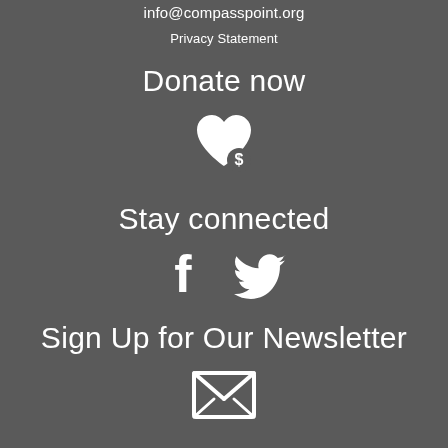info@compasspoint.org
Privacy Statement
Donate now
[Figure (illustration): Heart with dollar sign icon (donate icon)]
Stay connected
[Figure (illustration): Facebook and Twitter social media icons]
Sign Up for Our Newsletter
[Figure (illustration): Envelope/mail icon for newsletter signup]